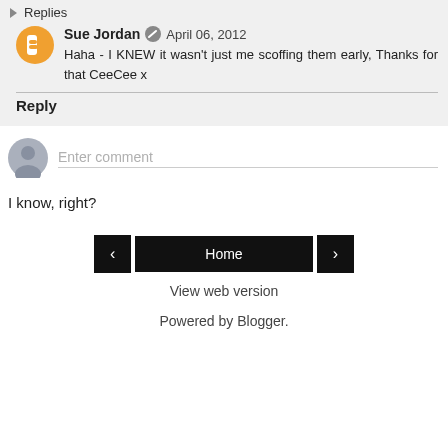Replies
Sue Jordan  April 06, 2012
Haha - I KNEW it wasn't just me scoffing them early, Thanks for that CeeCee x
Reply
Enter comment
I know, right?
Home
View web version
Powered by Blogger.